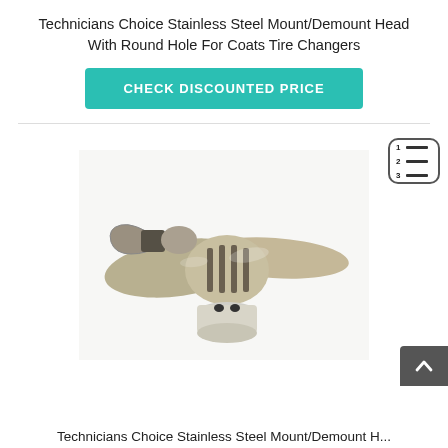Technicians Choice Stainless Steel Mount/Demount Head With Round Hole For Coats Tire Changers
CHECK DISCOUNTED PRICE
[Figure (photo): Stainless steel mount/demount head product photo — a chrome-finished tire changer head fitting with a bird-like silhouette, showing the round hole base and wing-shaped body]
Technicians Choice Stainless Steel Mount/Demount H...